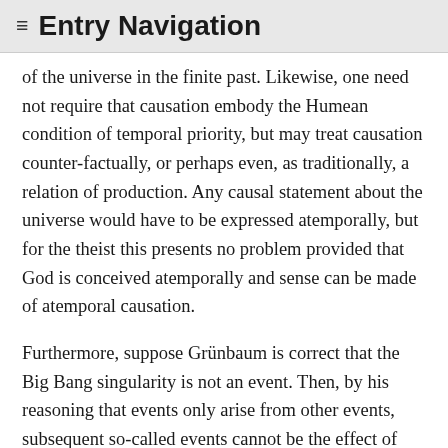≡ Entry Navigation
of the universe in the finite past. Likewise, one need not require that causation embody the Humean condition of temporal priority, but may treat causation counter-factually, or perhaps even, as traditionally, a relation of production. Any causal statement about the universe would have to be expressed atemporally, but for the theist this presents no problem provided that God is conceived atemporally and sense can be made of atemporal causation.
Furthermore, suppose Grünbaum is correct that the Big Bang singularity is not an event. Then, by his reasoning that events only arise from other events, subsequent so-called events cannot be the effect of that singularity. If they were, they would not be events either. This result that there are no events is absurd.
Given this understanding of space/time, we might reconceive the kalām argument.
11. If something has a finite past, its existence has a